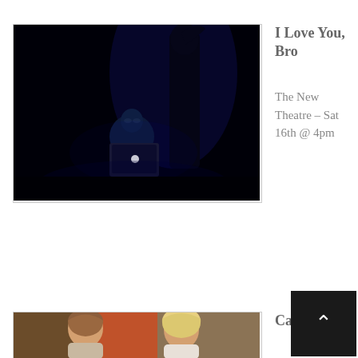[Figure (photo): Dark theatre scene with a person sitting using a glowing laptop, lit in blue light, with a standing figure silhouetted behind them]
I Love You, Bro
The New Theatre – Sat 16th @ 4pm
[Figure (photo): Theatre production photo showing two people, one with brown hair and one with blonde hair]
Careful